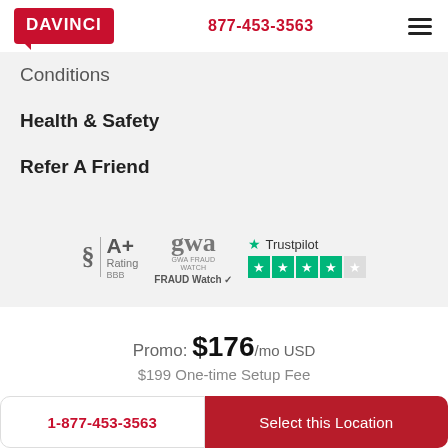DAVINCI | 877-453-3563
Conditions
Health & Safety
Refer A Friend
[Figure (logo): BBB A+ Rating badge, GWA Fraud Watch badge, Trustpilot 4-star rating badge]
Promo: $176/mo USD
$199 One-time Setup Fee
1-877-453-3563 | Select this Location